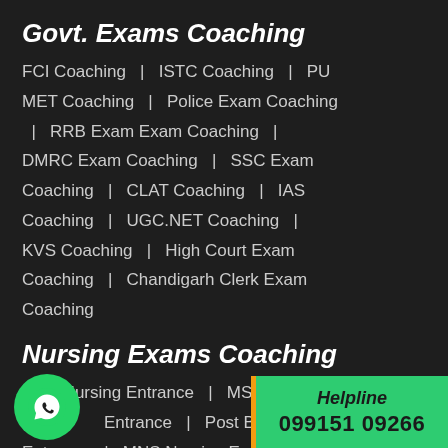Govt. Exams Coaching
FCI Coaching | ISTC Coaching | PU MET Coaching | Police Exam Coaching | RRB Exam Exam Coaching | DMRC Exam Coaching | SSC Exam Coaching | CLAT Coaching | IAS Coaching | UGC.NET Coaching | KVS Coaching | High Court Exam Coaching | Chandigarh Clerk Exam Coaching
Nursing Exams Coaching
BSc. Nursing Entrance | MSc. Nursing Entrance | Post Basic Nursing Entrance | MNS Nursing Entrance
Helpline
099151 09266